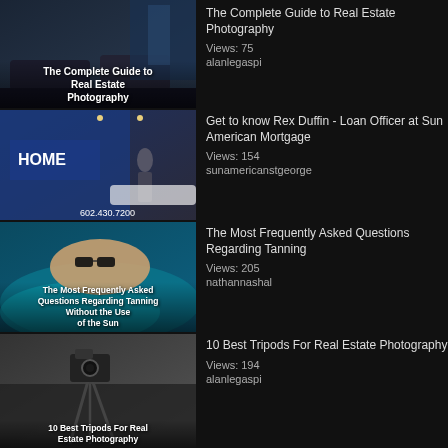[Figure (screenshot): Thumbnail for 'The Complete Guide to Real Estate Photography' — interior living room with dark furniture and blue-lit windows]
The Complete Guide to Real Estate Photography
Views: 75
alanlegaspi
[Figure (screenshot): Thumbnail for 'Get to know Rex Duffin - Loan Officer at Sun American Mortgage' — man standing in a modern office lobby with phone number 602.430.7200]
Get to know Rex Duffin - Loan Officer at Sun American Mortgage
Views: 154
sunamericanstgeorge
[Figure (screenshot): Thumbnail for tanning FAQ video — man with sunglasses lying in teal pool]
The Most Frequently Asked Questions Regarding Tanning
Views: 205
nathannashal
[Figure (screenshot): Thumbnail for '10 Best Tripods For Real Estate Photography' — camera on tripod in a living room]
10 Best Tripods For Real Estate Photography
Views: 194
alanlegaspi